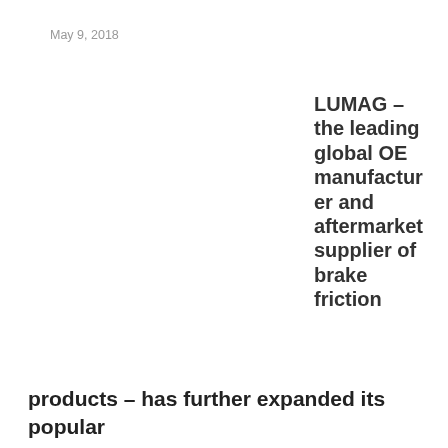May 9, 2018
LUMAG – the leading global OE manufacturer and aftermarket supplier of brake friction products – has further expanded its popular
SONY DSC